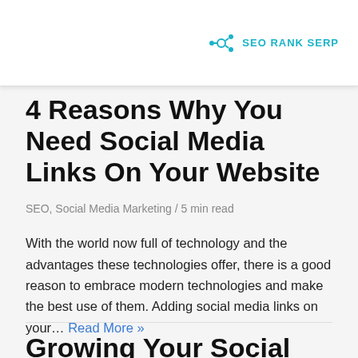SEO RANK SERP
4 Reasons Why You Need Social Media Links On Your Website
SEO, Social Media Marketing / 5 min read
With the world now full of technology and the advantages these technologies offer, there is a good reason to embrace modern technologies and make the best use of them. Adding social media links on your… Read More »
Growing Your Social Media